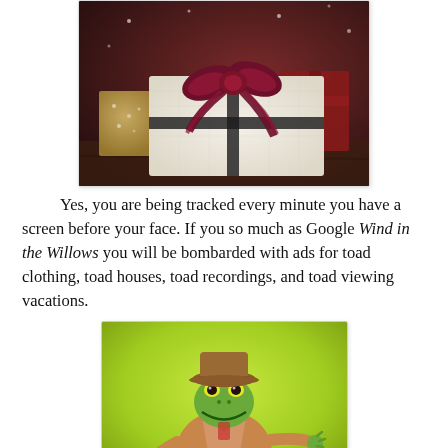[Figure (photo): Christmas gift boxes wrapped with ribbons and bows, dark festive background]
Yes, you are being tracked every minute you have a screen before your face. If you so much as Google Wind in the Willows you will be bombarded with ads for toad clothing, toad houses, toad recordings, and toad viewing vacations.
[Figure (illustration): Cartoon illustration of Mr. Toad character dressed in motoring clothes, on a yellow-green gradient background]